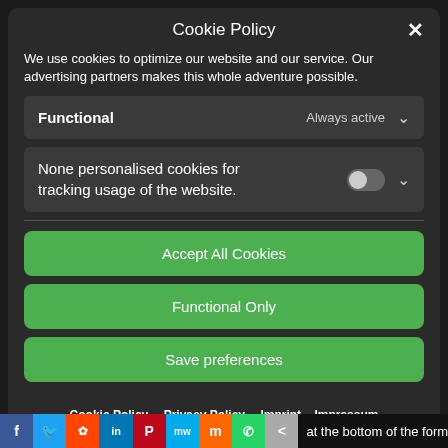Cookie Policy
We use cookies to optimize our website and our service. Our advertising partners makes this whole adventure possible.
Functional   Always active
None personalised cookies for tracking usage of the website.
Accept All Cookies
Functional Only
Save preferences
Cookie Policy   Privacy Policy   Imprint – Impressum